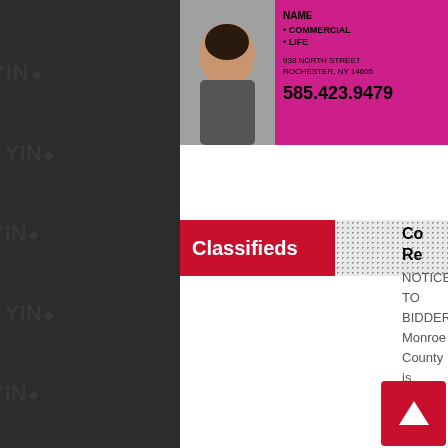[Figure (photo): Partial view of an advertisement with pink/magenta background showing a woman's photo on the left, text with bullets listing COMMERCIAL and LIFE, address 938 NORTH STREET ROCHESTER, NY 14605, phone number 585.423.9479, and another photo of a person on the right side.]
Classifieds
Co Re NOTICE TO BIDDERS Monroe County is seeking bids for the following items